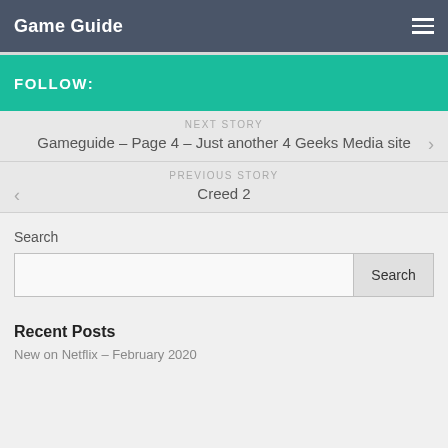Game Guide
FOLLOW:
NEXT STORY
Gameguide – Page 4 – Just another 4 Geeks Media site
PREVIOUS STORY
Creed 2
Search
Search
Recent Posts
New on Netflix – February 2020